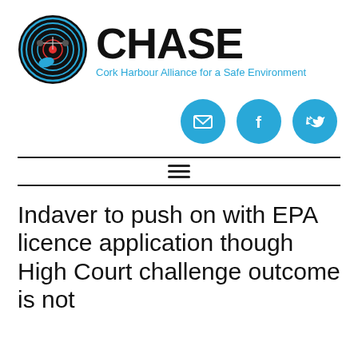[Figure (logo): CHASE logo — circular target/ripple emblem in black and blue on left, with 'CHASE' in large bold black text and tagline 'Cork Harbour Alliance for a Safe Environment' in blue below]
[Figure (infographic): Three circular blue social media icon buttons: email (envelope), Facebook (f), Twitter (bird)]
≡
Indaver to push on with EPA licence application though High Court challenge outcome is not